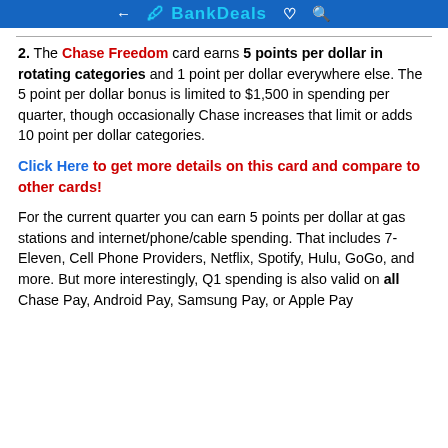BankDeals
2. The Chase Freedom card earns 5 points per dollar in rotating categories and 1 point per dollar everywhere else. The 5 point per dollar bonus is limited to $1,500 in spending per quarter, though occasionally Chase increases that limit or adds 10 point per dollar categories.
Click Here to get more details on this card and compare to other cards!
For the current quarter you can earn 5 points per dollar at gas stations and internet/phone/cable spending. That includes 7-Eleven, Cell Phone Providers, Netflix, Spotify, Hulu, GoGo, and more. But more interestingly, Q1 spending is also valid on all Chase Pay, Android Pay, Samsung Pay, or Apple Pay